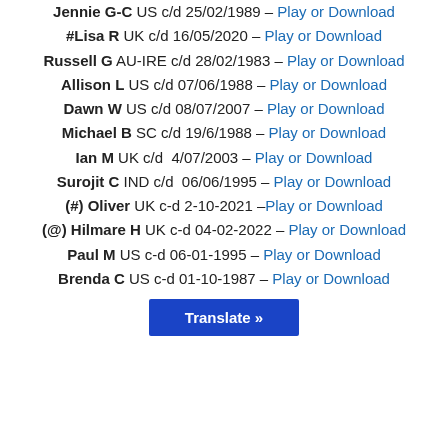Jennie G-C US c/d 25/02/1989 – Play or Download
#Lisa R UK c/d 16/05/2020 – Play or Download
Russell G AU-IRE c/d 28/02/1983 – Play or Download
Allison L US c/d 07/06/1988 – Play or Download
Dawn W US c/d 08/07/2007 – Play or Download
Michael B SC c/d 19/6/1988 – Play or Download
Ian M UK c/d 4/07/2003 – Play or Download
Surojit C IND c/d 06/06/1995 – Play or Download
(#) Oliver UK c-d 2-10-2021 –Play or Download
(@) Hilmare H UK c-d 04-02-2022 – Play or Download
Paul M US c-d 06-01-1995 – Play or Download
Brenda C US c-d 01-10-1987 – Play or Download